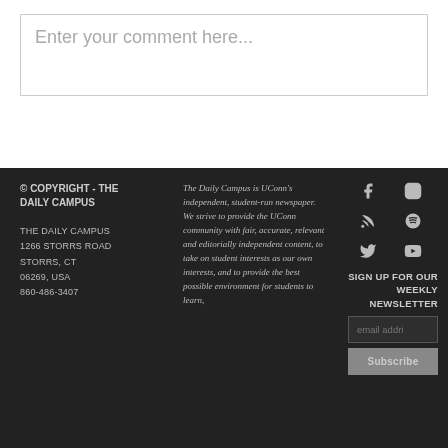Enter your comment here...
© COPYRIGHT - THE DAILY CAMPUS
THE DAILY CAMPUS
1266 STORRS ROAD
STORRS, CT
06269, USA
860-486-3407
The Daily Campus is UConn's independent, student-run newspaper. We strive to provide the UConn community with fair, accurate, relevant and editorially independent content, to take on student interests as our own interests, and to provide the best possible environment for students to learn,
SIGN UP FOR OUR WEEKLY NEWSLETTER
email addri
Subscribe